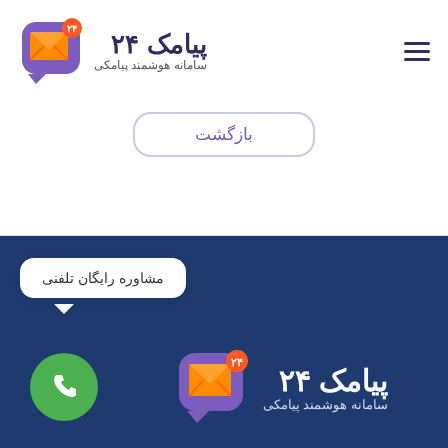[Figure (logo): پیامک ۲۴ logo with orange envelope icon and purple speech bubble, badge showing 24]
بازگشت
[Figure (logo): Bottom footer section with dark blue background, phone call button (green circle with phone icon), speech bubble saying مشاوره رایگان تلفنی, and پیامک ۲۴ logo repeated]
مشاوره رایگان تلفنی